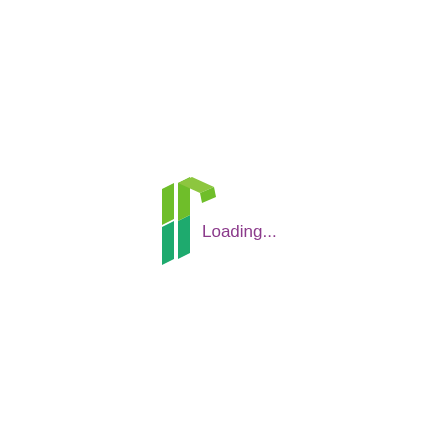[Figure (logo): A stylized logo composed of green and teal geometric shapes resembling angular arrows or brackets, with the text 'Loading...' in purple to the right of the logo mark.]